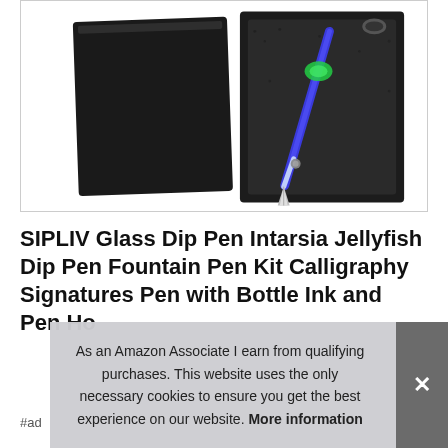[Figure (photo): A glass dip pen with blue and green jellyfish-style handle shown in a black foam-lined gift box, with the black box lid alongside.]
SIPLIV Glass Dip Pen Intarsia Jellyfish Dip Pen Fountain Pen Kit Calligraphy Signatures Pen with Bottle Ink and Pen Ho...
#ad
As an Amazon Associate I earn from qualifying purchases. This website uses the only necessary cookies to ensure you get the best experience on our website. More information